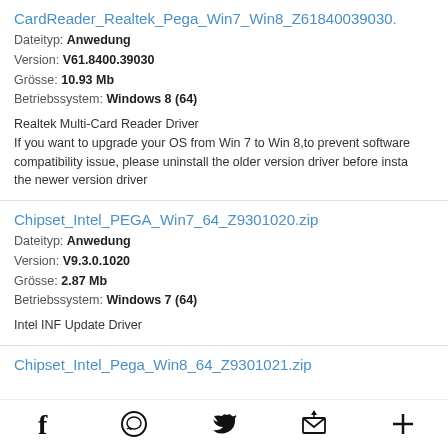CardReader_Realtek_Pega_Win7_Win8_Z61840039030.
Dateityp: Anwedung
Version: V61.8400.39030
Grösse: 10.93 Mb
Betriebssystem: Windows 8 (64)
Realtek Multi-Card Reader Driver
If you want to upgrade your OS from Win 7 to Win 8,to prevent software compatibility issue, please uninstall the older version driver before installing the newer version driver
Chipset_Intel_PEGA_Win7_64_Z9301020.zip
Dateityp: Anwedung
Version: V9.3.0.1020
Grösse: 2.87 Mb
Betriebssystem: Windows 7 (64)
Intel INF Update Driver
Chipset_Intel_Pega_Win8_64_Z9301021.zip